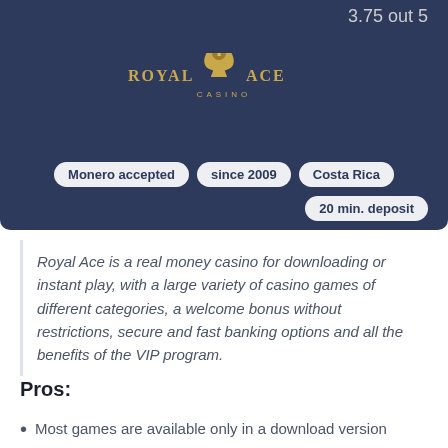3.75 out 5
[Figure (logo): Royal Ace Casino logo — gold spade with lion emblem, text 'ROYAL ACE CASINO' in gold serif lettering on dark navy background]
Monero accepted   since 2009   Costa Rica
20 min. deposit
Royal Ace is a real money casino for downloading or instant play, with a large variety of casino games of different categories, a welcome bonus without restrictions, secure and fast banking options and all the benefits of the VIP program.
Pros:
Most games are available only in a download version